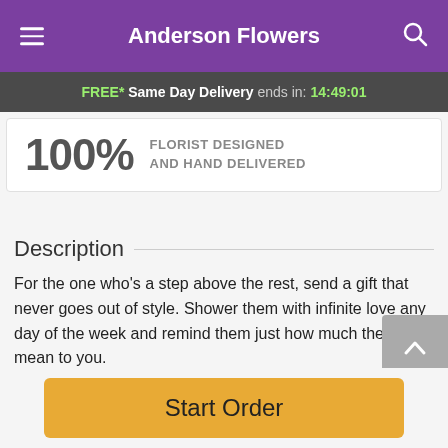Anderson Flowers
FREE* Same Day Delivery ends in: 14:49:01
100% FLORIST DESIGNED AND HAND DELIVERED
Description
For the one who's a step above the rest, send a gift that never goes out of style. Shower them with infinite love any day of the week and remind them just how much they mean to you.
Five dozen premium roses in fuchsia, pink, and lavender
Start Order